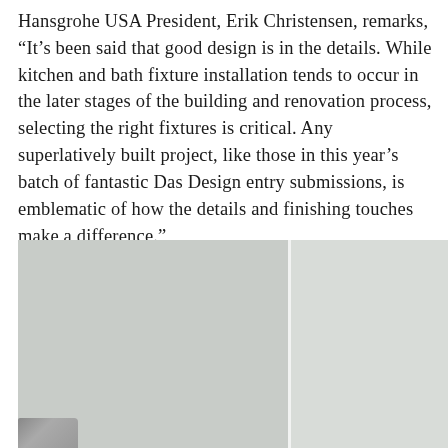Hansgrohe USA President, Erik Christensen, remarks, “It’s been said that good design is in the details. While kitchen and bath fixture installation tends to occur in the later stages of the building and renovation process, selecting the right fixtures is critical. Any superlatively built project, like those in this year’s batch of fantastic Das Design entry submissions, is emblematic of how the details and finishing touches make a difference.”
[Figure (photo): A photograph of a minimalist bathroom or kitchen space with light gray walls and a dividing element, showing clean modern design aesthetic. Bottom left corner shows a partial view of a fixture.]